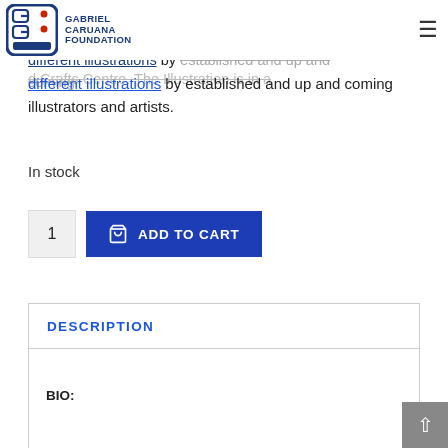Gabriel Caruana Foundation
d Crafts Centre. The Illustration is in a edition of 20 prints, and part of a series of 16 different illustrations by established and up and coming illustrators and artists.
In stock
1  ADD TO CART
DESCRIPTION
BIO: